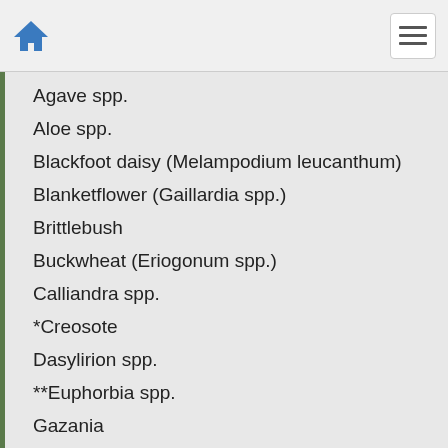Home / Menu
Agave spp.
Aloe spp.
Blackfoot daisy (Melampodium leucanthum)
Blanketflower (Gaillardia spp.)
Brittlebush
Buckwheat (Eriogonum spp.)
Calliandra spp.
*Creosote
Dasylirion spp.
**Euphorbia spp.
Gazania
Hesperaloe spp.
Hummingbird bush (Zauschneria californica)
Jojoba